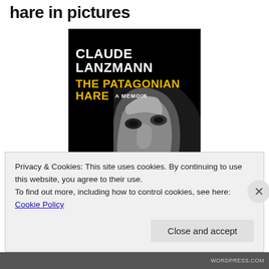hare in pictures
[Figure (photo): Book cover of 'The Patagonian Hare: A Memoir' by Claude Lanzmann. Black and white close-up photo of an elderly man's face looking upward. White bold text reads 'CLAUDE LANZMANN' and yellow bold text reads 'THE PATAGONIAN HARE' with 'A MEMOIR' in small white caps.]
Privacy & Cookies: This site uses cookies. By continuing to use this website, you agree to their use.
To find out more, including how to control cookies, see here: Cookie Policy
Close and accept